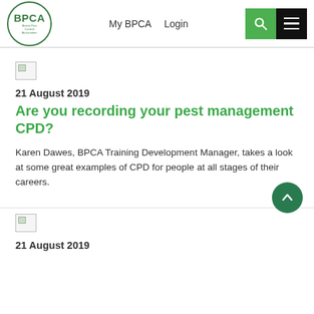BPCA - British Pest Control Association | My BPCA | Login
[Figure (logo): BPCA British Pest Control Association circular logo in green]
[Figure (other): Broken image placeholder (thumbnail)]
21 August 2019
Are you recording your pest management CPD?
Karen Dawes, BPCA Training Development Manager, takes a look at some great examples of CPD for people at all stages of their careers.
[Figure (other): Broken image placeholder (thumbnail)]
21 August 2019